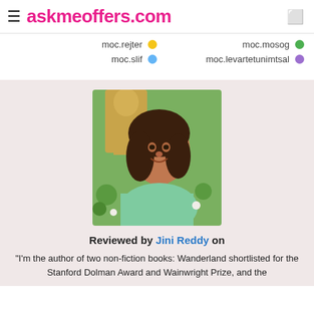askmeoffers.com
retjer.com
gosom.com
fils.com
lastminutetravel.com
[Figure (photo): Portrait photo of Jini Reddy, a woman with dark hair wearing a mint green top, smiling, with a golden Buddha statue in the background]
Reviewed by Jini Reddy on
"I'm the author of two non-fiction books: Wanderland shortlisted for the Stanford Dolman Award and Wainwright Prize, and the